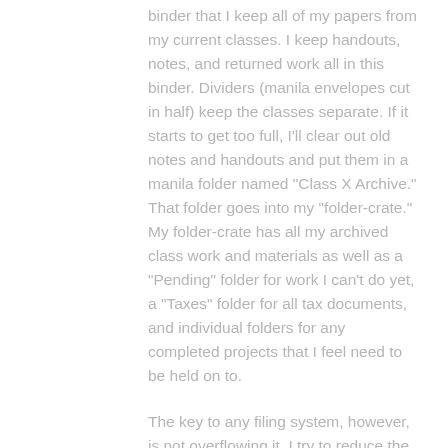binder that I keep all of my papers from my current classes.  I keep handouts, notes, and returned work all in this binder.  Dividers (manila envelopes cut in half) keep the classes separate.  If it starts to get too full, I'll clear out old notes and handouts and put them in a manila folder named "Class X Archive."  That folder goes into my "folder-crate."  My folder-crate has all my archived class work and materials as well as a "Pending" folder for work I can't do yet, a "Taxes" folder for all tax documents, and individual folders for any completed projects that I feel need to be held on to.
The key to any filing system, however, is not overflowing it.  I try to reduce the amount of paper that I file by throwing away things I don't need.